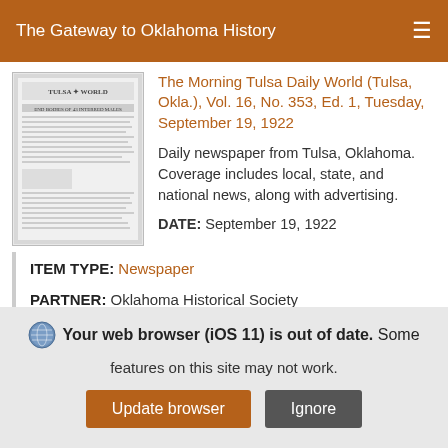The Gateway to Oklahoma History
The Morning Tulsa Daily World (Tulsa, Okla.), Vol. 16, No. 353, Ed. 1, Tuesday, September 19, 1922
[Figure (photo): Thumbnail image of newspaper front page for The Morning Tulsa Daily World]
Daily newspaper from Tulsa, Oklahoma. Coverage includes local, state, and national news, along with advertising.
DATE: September 19, 1922
ITEM TYPE: Newspaper
PARTNER: Oklahoma Historical Society
Your web browser (iOS 11) is out of date. Some features on this site may not work.